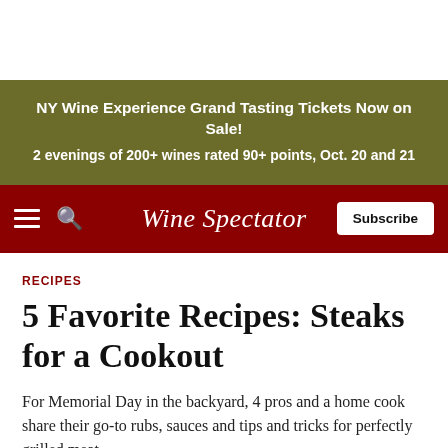[Figure (infographic): Olive/dark yellow banner advertisement for NY Wine Experience Grand Tasting Tickets]
NY Wine Experience Grand Tasting Tickets Now on Sale!
2 evenings of 200+ wines rated 90+ points, Oct. 20 and 21
Wine Spectator — Subscribe
RECIPES
5 Favorite Recipes: Steaks for a Cookout
For Memorial Day in the backyard, 4 pros and a home cook share their go-to rubs, sauces and tips and tricks for perfectly grilled meat.